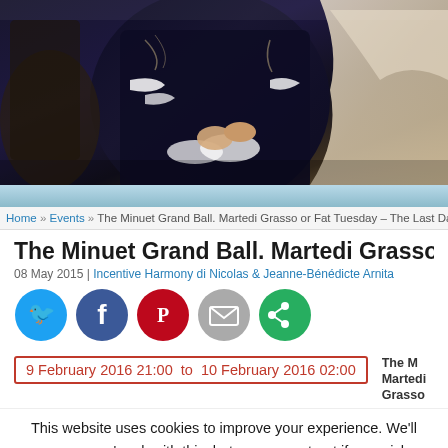[Figure (photo): Historical costume ball scene showing people in 18th century period dress, dark navy/black embroidered coat with white lace cuffs in foreground, cream/white dress in background right]
Home » Events » The Minuet Grand Ball. Martedi Grasso or Fat Tuesday – The Last Danc
The Minuet Grand Ball. Martedi Grasso or Fat Tuesday – T
08 May 2015 | Incentive Harmony di Nicolas & Jeanne-Bénédicte Arnita
[Figure (infographic): Social media sharing icons: Twitter (blue), Facebook (dark blue), Pinterest (red), Email (grey), Share/More (green)]
9 February 2016 21:00  to  10 February 2016 02:00
The M
Martedi Grasso
This website uses cookies to improve your experience. We'll assume you're ok with this, but you can opt-out if you wish.
Accept   Reject   Read More